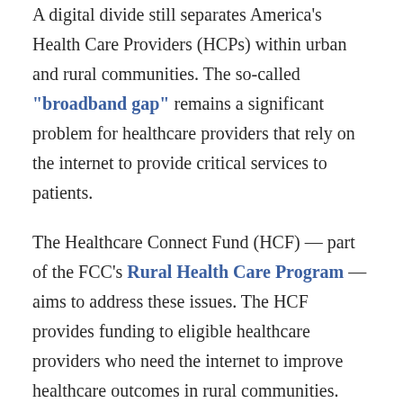A digital divide still separates America's Health Care Providers (HCPs) within urban and rural communities. The so-called "broadband gap" remains a significant problem for healthcare providers that rely on the internet to provide critical services to patients.
The Healthcare Connect Fund (HCF) — part of the FCC's Rural Health Care Program — aims to address these issues. The HCF provides funding to eligible healthcare providers who need the internet to improve healthcare outcomes in rural communities. However, determining such eligibility is a complicated process, and many providers are confused about whether they qualify for funding.